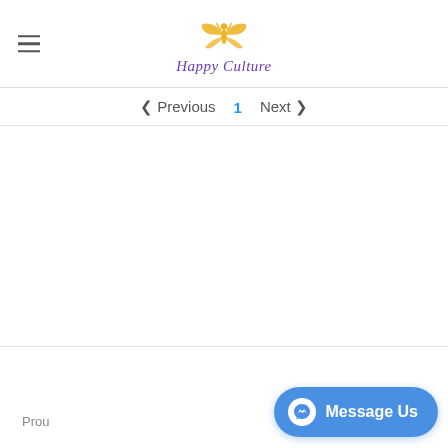[Figure (logo): Happy Culture logo with golden angel/butterfly figure above the text 'Happy Culture' in purple italic font]
< Previous  1  Next >
Prou
Message Us